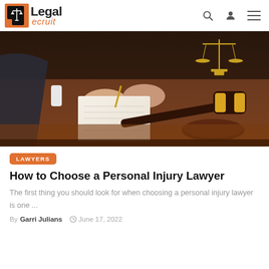Legal ecruit
[Figure (photo): A lawyer sitting at a wooden desk writing in a notebook, with a judge's gavel and brass scales of justice in the background]
LAWYERS
How to Choose a Personal Injury Lawyer
The first thing you should look for when choosing a personal injury lawyer is one ...
By Garri Julians   June 17, 2022